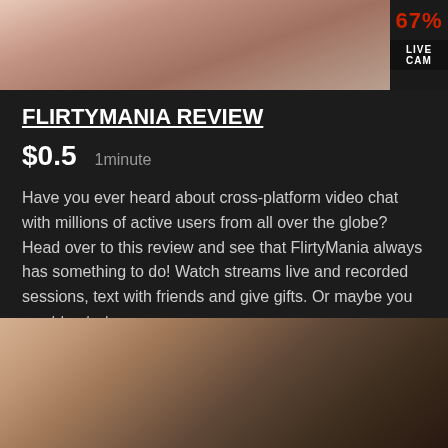[Figure (photo): Partial photo of a person, cropped view showing upper body, warm tones]
67%
LIVE CAM
FLIRTYMANIA REVIEW
$0.5   1minute
Have you ever heard about cross-platform video chat with millions of active users from all over the globe? Head over to this review and see that FlirtyMania always has something to do! Watch streams live and recorded sessions, text with friends and give gifts. Or maybe you want to start your
Read more
FLIRTYMANIA REVIEW
FULL REVIEW
VISIT SITE
[Figure (photo): Partial photo of a person wearing dark lace clothing with teal jewelry accent, cropped view]